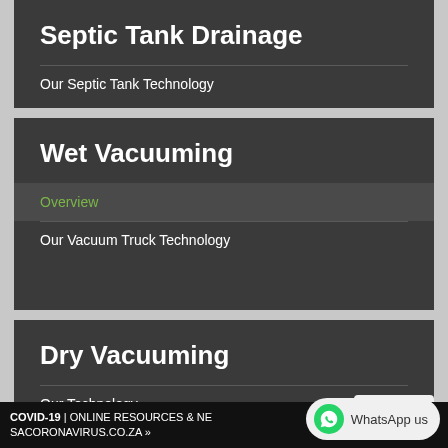Septic Tank Drainage
Our Septic Tank Technology
Wet Vacuuming
Overview
Our Vacuum Truck Technology
Dry Vacuuming
Our Technology
COVID-19 | ONLINE RESOURCES & NEWS AT SACORONAVIRUS.CO.ZA »